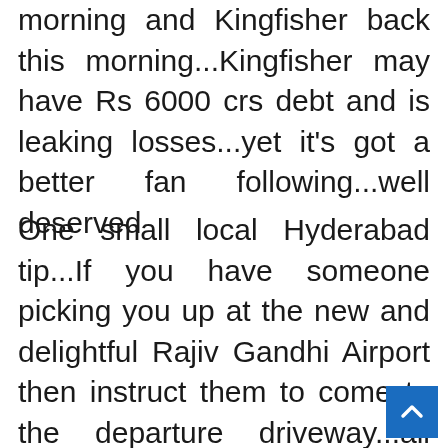morning and Kingfisher back this morning...Kingfisher may have Rs 6000 crs debt and is leaking losses...yet it's got a better fan following...well deserved
One small local Hyderabad tip...If you have someone picking you up at the new and delightful Rajiv Gandhi Airport then instruct them to come to the departure driveway...all you have to do is come out in Arrivals and take the modern see-through elevator up to the third floor departures...the reason is tha Private Cars are not allowed to drive